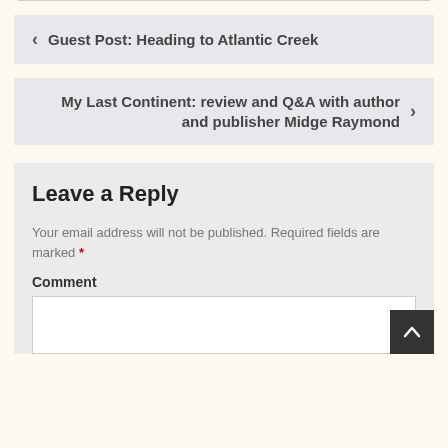< Guest Post: Heading to Atlantic Creek
My Last Continent: review and Q&A with author and publisher Midge Raymond >
Leave a Reply
Your email address will not be published. Required fields are marked *
Comment